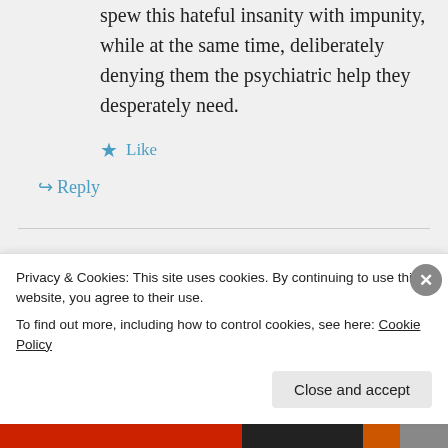spew this hateful insanity with impunity, while at the same time, deliberately denying them the psychiatric help they desperately need.
★ Like
↪ Reply
Lukas on July 3, 2017 at 12:44 pm
Privacy & Cookies: This site uses cookies. By continuing to use this website, you agree to their use.
To find out more, including how to control cookies, see here: Cookie Policy
Close and accept